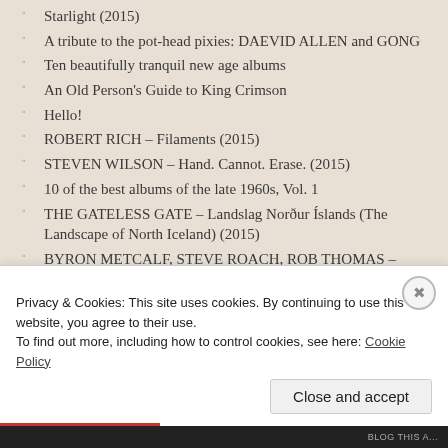Starlight (2015)
A tribute to the pot-head pixies: DAEVID ALLEN and GONG
Ten beautifully tranquil new age albums
An Old Person's Guide to King Crimson
Hello!
ROBERT RICH – Filaments (2015)
STEVEN WILSON – Hand. Cannot. Erase. (2015)
10 of the best albums of the late 1960s, Vol. 1
THE GATELESS GATE – Landslag Norður Íslands (The Landscape of North Iceland) (2015)
BYRON METCALF, STEVE ROACH, ROB THOMAS – Monuments of Ecstasy (2015)
Seven Sojourns: The early adventures of THE MOODY BLUES
Privacy & Cookies: This site uses cookies. By continuing to use this website, you agree to their use. To find out more, including how to control cookies, see here: Cookie Policy
Close and accept